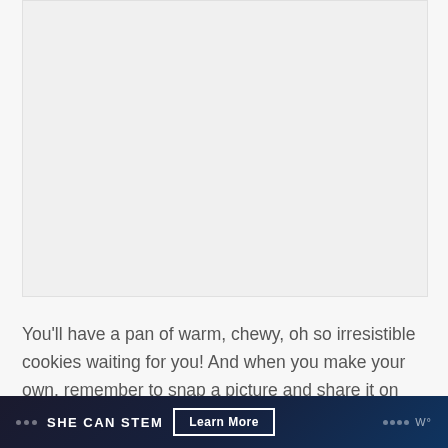[Figure (photo): Large photo placeholder area showing baked cookies or food item, light gray background]
You'll have a pan of warm, chewy, oh so irresistible cookies waiting for you! And when you make your own, remember to snap a picture and share it on Instagram using
SHE CAN STEM  Learn More